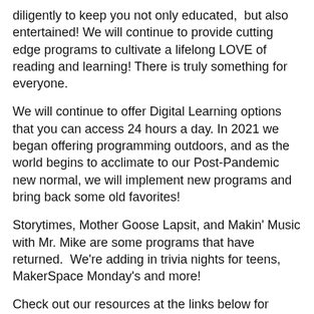diligently to keep you not only educated,  but also entertained! We will continue to provide cutting edge programs to cultivate a lifelong LOVE of reading and learning! There is truly something for everyone.
We will continue to offer Digital Learning options that you can access 24 hours a day. In 2021 we began offering programming outdoors, and as the world begins to acclimate to our Post-Pandemic new normal, we will implement new programs and bring back some old favorites!
Storytimes, Mother Goose Lapsit, and Makin' Music with Mr. Mike are some programs that have returned.  We're adding in trivia nights for teens, MakerSpace Monday's and more!
Check out our resources at the links below for information on Early Literacy, our MakerSpace, and all of our virtual learning options.   eResources for children and teens are